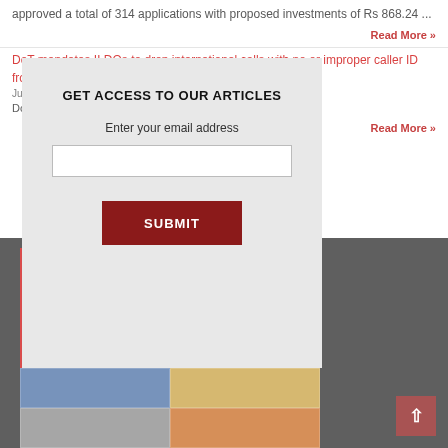approved a total of 314 applications with proposed investments of Rs 868.24 ...
Read More »
DoT mandates ILDOs to drop international calls with no or improper caller ID fro...
July ...
DoT ... caller line Ide... ors at their ...
Read More »
[Figure (screenshot): Modal dialog box over a webpage, containing 'GET ACCESS TO OUR ARTICLES' heading, 'Enter your email address' label, an email input field, and a dark red SUBMIT button]
[Figure (photo): Indian Infrastructure magazine cover, red background with 'Indian Infrastructure' title text and grid of infrastructure photos at the bottom]
[Figure (other): Dark charcoal background section with back-to-top arrow button in dark red]